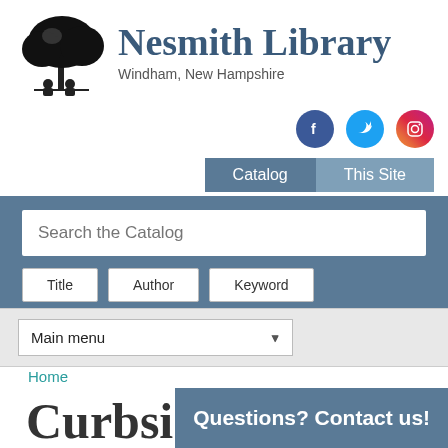[Figure (logo): Nesmith Library logo — black ink illustration of a large tree with two people sitting beneath it]
Nesmith Library
Windham, New Hampshire
[Figure (infographic): Social media icons: Facebook (blue circle with f), Twitter (cyan circle with bird), Instagram (pink/orange circle with camera)]
Catalog   This Site
Search the Catalog
Title   Author   Keyword
Main menu
Home
Curbsi
Questions? Contact us!